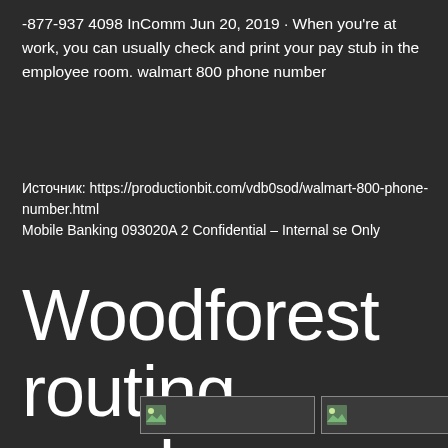-877-937 4098 InComm Jun 20, 2019 · When you're at work, you can usually check and print your pay stub in the employee room. walmart 800 phone number
Источник: https://productionbit.com/vdb0sod/walmart-800-phone-number.html
Mobile Banking 093020A 2 Confidential – Internal se Only
Woodforest routing number pa
[Figure (photo): Two broken/placeholder image icons side by side in bordered boxes]